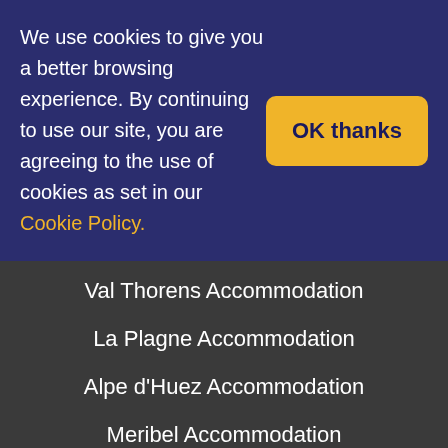We use cookies to give you a better browsing experience. By continuing to use our site, you are agreeing to the use of cookies as set in our Cookie Policy.
OK thanks
Tignes Accommodation
Val d'Isere Accommodation
Val Thorens Accommodation
La Plagne Accommodation
Alpe d'Huez Accommodation
Meribel Accommodation
Les Carroz Accommodation
Les Menuires Accommodation